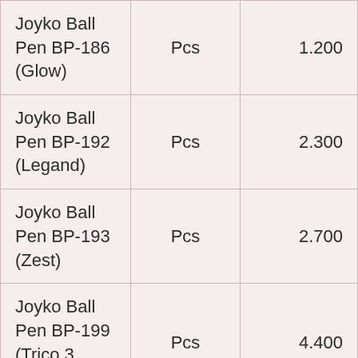| Product | Unit | Price |
| --- | --- | --- |
| Joyko Ball Pen BP-186 (Glow) | Pcs | 1.200 |
| Joyko Ball Pen BP-192 (Legand) | Pcs | 2.300 |
| Joyko Ball Pen BP-193 (Zest) | Pcs | 2.700 |
| Joyko Ball Pen BP-199 (Trico,3 Color) | Pcs | 4.400 |
| Joyko Ball Pen BP-200 (Festy) | Pcs | 2.000 |
| Joyko Ball Pen BP-205 | Pcs | 3.000 |